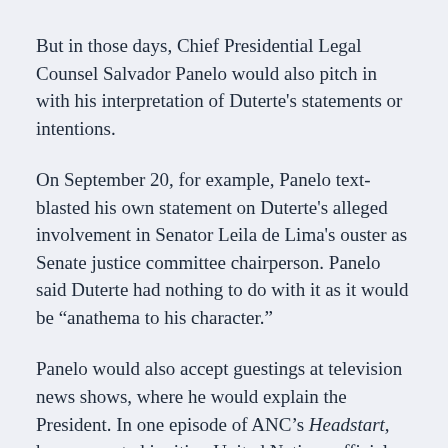But in those days, Chief Presidential Legal Counsel Salvador Panelo would also pitch in with his interpretation of Duterte's statements or intentions.
On September 20, for example, Panelo text-blasted his own statement on Duterte's alleged involvement in Senator Leila de Lima's ouster as Senate justice committee chairperson. Panelo said Duterte had nothing to do with it as it would be “anathema to his character.”
Panelo would also accept guestings at television news shows, where he would explain the President. In one episode of ANC’s Headstart, he was quoted inviting United Nations officials to the Philippines to investigate the